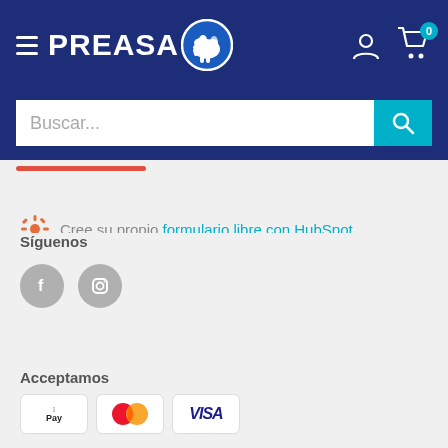[Figure (logo): PREASA logo with elephant icon in blue header navigation bar with hamburger menu, user icon, and cart icon showing 0]
[Figure (screenshot): Search bar with placeholder text Buscar... and teal search button]
Cree su propio formulario libre con HubSpot
Síguenos
[Figure (illustration): Facebook and Instagram social media icons (grey circles)]
Acceptamos
[Figure (illustration): Payment method icons: Apple Pay, Mastercard, Visa]